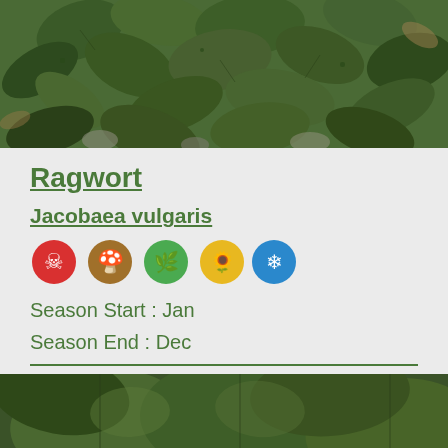[Figure (photo): Close-up photo of ragwort plant leaves on ground with moss and stones, taken from above.]
Ragwort
Jacobaea vulgaris
[Figure (infographic): Five circular icons: red skull-and-crossbones (toxic), brown mushroom, green leaf/plant, yellow sunflower, blue snowflake.]
Season Start : Jan
Season End : Dec
[Figure (photo): Close-up photo of green plant leaves, partially visible at bottom of page.]